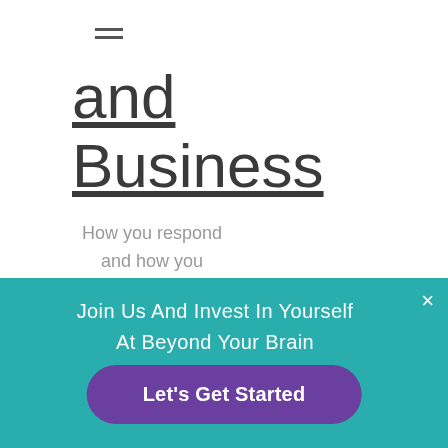[Figure (other): Hamburger menu icon (three horizontal lines)]
and Business
How you respond and how you interact with people
Join Us And Invest In Yourself At Beyond Your Brain
×
Let's Get Started